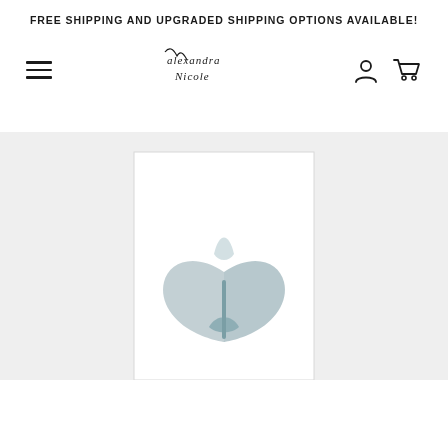FREE SHIPPING AND UPGRADED SHIPPING OPTIONS AVAILABLE!
[Figure (screenshot): Navigation bar with hamburger menu icon on left, cursive 'Alexandra Nicole' logo in center, user account icon and shopping cart icon on right]
[Figure (photo): A framed art print of a shark tooth displayed against a light gray/white background. The shark tooth is gray-blue toned, shown in a white frame.]